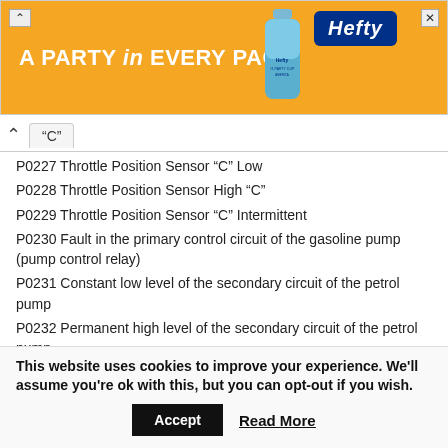[Figure (other): Hefty brand advertisement banner with orange background. Text reads 'A PARTY in EVERY PACK' with Hefty logo and bottle image.]
“C”
P0227 Throttle Position Sensor “C” Low
P0228 Throttle Position Sensor High “C”
P0229 Throttle Position Sensor “C” Intermittent
P0230 Fault in the primary control circuit of the gasoline pump (pump control relay)
P0231 Constant low level of the secondary circuit of the petrol pump
P0232 Permanent high level of the secondary circuit of the petrol pump
P0233 Intermediate level of the secondary circuit of the gasoline pump
This website uses cookies to improve your experience. We'll assume you're ok with this, but you can opt-out if you wish.